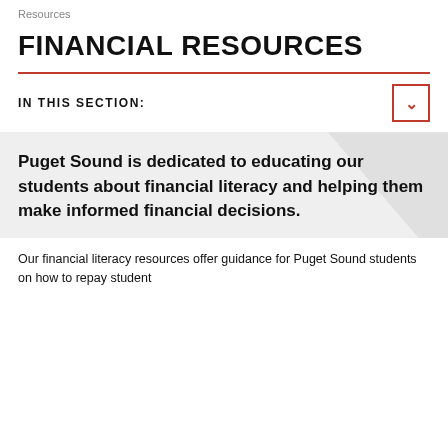Resources
FINANCIAL RESOURCES
IN THIS SECTION:
Puget Sound is dedicated to educating our students about financial literacy and helping them make informed financial decisions.
Our financial literacy resources offer guidance for Puget Sound students on how to repay student